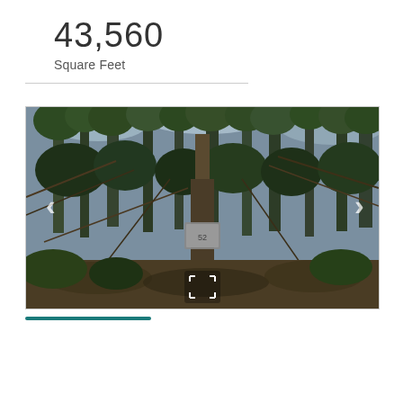43,560
Square Feet
[Figure (photo): Outdoor forest/wooded area with dense trees and brush; a small marker or sign visible in the center; navigation arrows on left and right sides; expand icon at bottom center.]